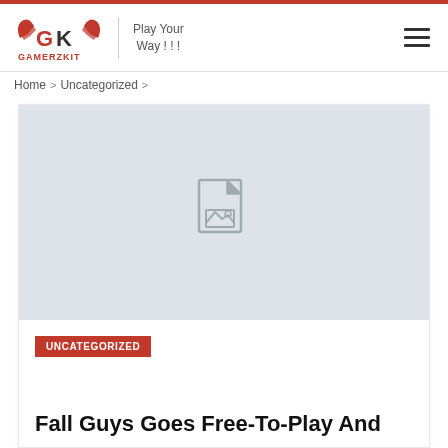GAMERZKIT — Play Your Way !!!
Home > Uncategorized >
[Figure (photo): Placeholder image with a document/image icon on a light grey background]
UNCATEGORIZED
Fall Guys Goes Free-To-Play And